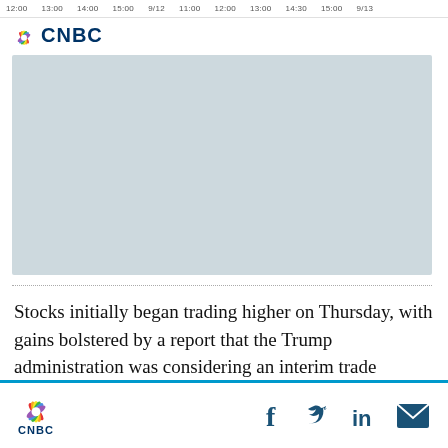12:00  13:00  14:00  15:00  9/12  11:00  12:00  13:00  14:30  15:00  9/13
[Figure (logo): CNBC logo with NBC peacock icon in color]
[Figure (other): Light blue-gray image placeholder rectangle]
Stocks initially began trading higher on Thursday, with gains bolstered by a report that the Trump administration was considering an interim trade
CNBC logo with social media icons: Facebook, Twitter, LinkedIn, Email